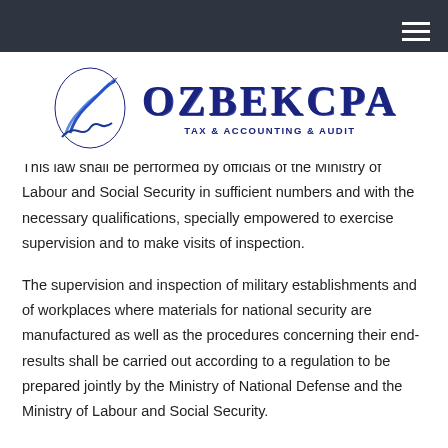OZBEKCPA TAX & ACCOUNTING & AUDIT
[Figure (logo): OZBEKCPA logo with stylized pen/signature icon and text 'OZBEKCPA' in large bold serif letters with 'TAX & ACCOUNTING & AUDIT' subtitle]
This law shall be performed by officials of the Ministry of Labour and Social Security in sufficient numbers and with the necessary qualifications, specially empowered to exercise supervision and to make visits of inspection.
The supervision and inspection of military establishments and of workplaces where materials for national security are manufactured as well as the procedures concerning their end-results shall be carried out according to a regulation to be prepared jointly by the Ministry of National Defense and the Ministry of Labour and Social Security.